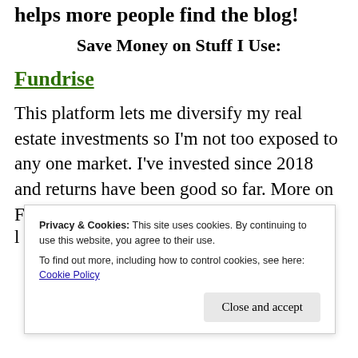helps more people find the blog!
Save Money on Stuff I Use:
Fundrise
This platform lets me diversify my real estate investments so I'm not too exposed to any one market. I've invested since 2018 and returns have been good so far. More on Fundrise i…
Privacy & Cookies: This site uses cookies. By continuing to use this website, you agree to their use.
To find out more, including how to control cookies, see here: Cookie Policy
Close and accept